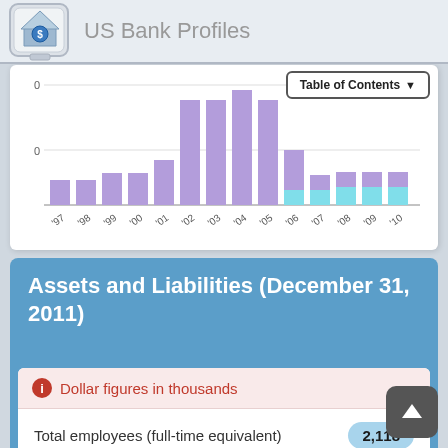US Bank Profiles
[Figure (bar-chart): Historical bar chart (partial view)]
Assets and Liabilities (December 31, 2011)
Dollar figures in thousands
Total employees (full-time equivalent)   2,118
Total assets   $39,468,72
Cash and due from depository   $1,178,194